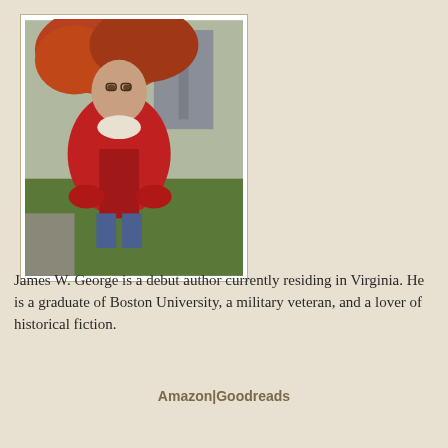[Figure (photo): Author photo: a man in a red jacket standing outdoors with autumn trees in the background]
James W. George is a debut author currently residing in Virginia. He is a graduate of Boston University, a military veteran, and a lover of historical fiction.
Amazon | Goodreads